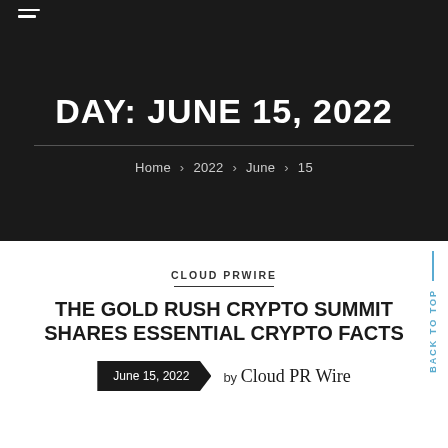☰ (hamburger menu icon)
DAY: JUNE 15, 2022
Home > 2022 > June > 15
CLOUD PRWIRE
THE GOLD RUSH CRYPTO SUMMIT SHARES ESSENTIAL CRYPTO FACTS
June 15, 2022 by Cloud PR Wire